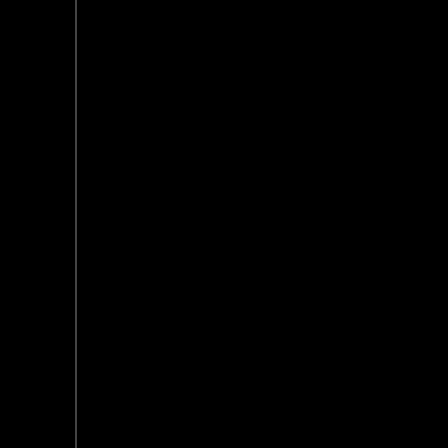really the case. Sure, Leia and Lando do pop by, but it's only for fan service, and doesn't really push the story forwards, in that regard. The ending is a bit on the dividing side, tampering with things not been in SW until suddenly it is, taking the force to new supernatural levels that I didn't really care for. I accept it, but doing so opens much more windows in the rest of the saga that suddenly don't make sense. Make sense? Moving on.
The Bad Batch has no right being that good. That's right, I said it. The show is set directly, er, actually, during the siege of Mandalore, and opens up with Order 66. Where some, shall we say 'faulty' clones aren't affected by it. From here on, it explores rogue clones trying to cope in a universe that wants